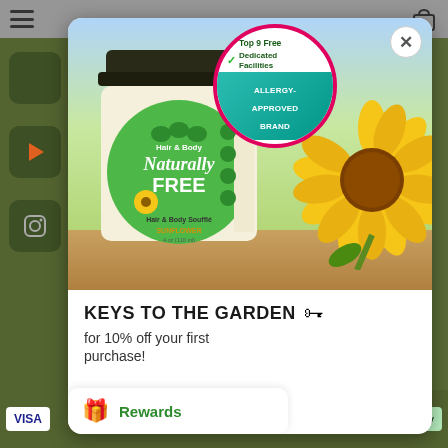[Figure (screenshot): Mobile app screenshot showing a popup modal overlay on a green background. The modal displays a product image of 'Naturally FREE Hair & Body Soufflé Sunflower' jar with an allergy-approved brand badge (Top 9 Free, Dedicated Facilities, Allergy-Approved Brand). A close X button is in the top right. Below the image text reads: KEYS TO THE GARDEN 🗝 and 'for 10% off your first purchase!'. At bottom left is a Rewards button with a gift icon. Background shows partial app UI with hamburger menu, bag icon, app store icons on the left, Visa and Afterpay logos at the bottom.]